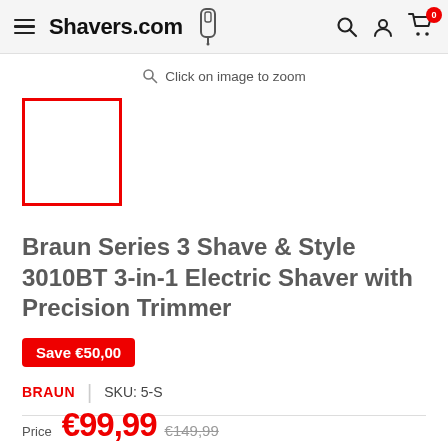Shavers.com — navigation header with hamburger menu, logo, shaver icon, search icon, account icon, cart icon with badge 0
Click on image to zoom
[Figure (photo): Product image thumbnail placeholder with red border — empty white box]
Braun Series 3 Shave & Style 3010BT 3-in-1 Electric Shaver with Precision Trimmer
Save €50,00
BRAUN | SKU: 5-S
Price €699,99  €149,99